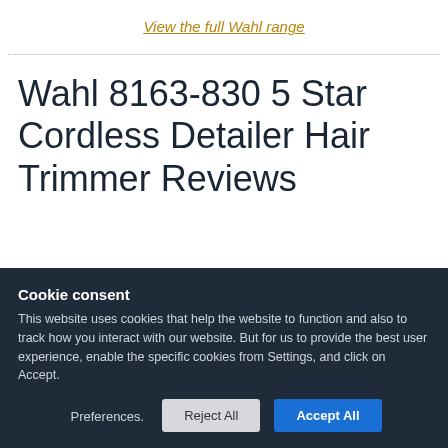View the full Wahl range
Wahl 8163-830 5 Star Cordless Detailer Hair Trimmer Reviews
Cookie consent
This website uses cookies that help the website to function and also to track how you interact with our website. But for us to provide the best user experience, enable the specific cookies from Settings, and click on Accept.
Preferences.
Reject All
Accept All